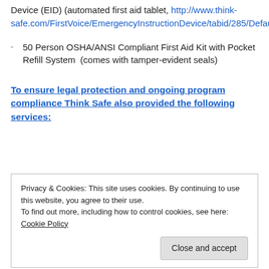Device (EID) (automated first aid tablet, http://www.think-safe.com/FirstVoice/EmergencyInstructionDevice/tabid/285/Default.aspx)
50 Person OSHA/ANSI Compliant First Aid Kit with Pocket Refill System  (comes with tamper-evident seals)
To ensure legal protection and ongoing program compliance Think Safe also provided the following services:
Privacy & Cookies: This site uses cookies. By continuing to use this website, you agree to their use.
To find out more, including how to control cookies, see here: Cookie Policy